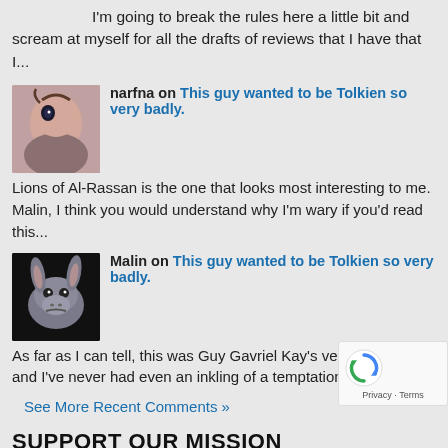I'm going to break the rules here a little bit and scream at myself for all the drafts of reviews that I have that I...
[Figure (photo): Avatar photo of user narfna - woman's face profile]
narfna on This guy wanted to be Tolkien so very badly.
Lions of Al-Rassan is the one that looks most interesting to me. Malin, I think you would understand why I'm wary if you'd read this...
[Figure (photo): Avatar photo of user Malin - Eeyore cartoon character on black background]
Malin on This guy wanted to be Tolkien so very badly.
As far as I can tell, this was Guy Gavriel Kay's very first novel, and I've never had even an inkling of a temptation to...
See More Recent Comments »
SUPPORT OUR MISSION
[Figure (screenshot): Donate button (yellow/gold colored)]
[Figure (logo): reCAPTCHA badge with Privacy and Terms links]